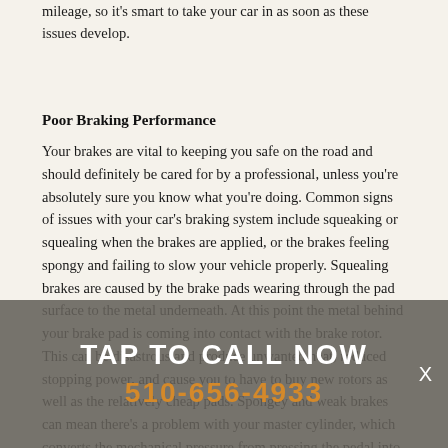mileage, so it's smart to take your car in as soon as these issues develop.
Poor Braking Performance
Your brakes are vital to keeping you safe on the road and should definitely be cared for by a professional, unless you're absolutely sure you know what you're doing. Common signs of issues with your car's braking system include squeaking or squealing when the brakes are applied, or the brakes feeling spongy and failing to slow your vehicle properly. Squealing brakes are caused by the brake pads wearing through the pad surface to the metal underneath. At this point the metal behind your brake pad is coming into contact with the brake rotor. This can be disastrous and produce unwanted heat, reduced stopping power, and cause you to have to buy new rotors as well as the relatively cheap pads. Spongey and weak brakes can mean there's a problem with your master cylinder, which converts the mechanical pressure from pressing the pedal into hydraulic pressure to apply the brakes. In either case, it's best to have your car's safety checked by the professional mechanics here at Pete's Foreign Auto Repair.
TAP TO CALL NOW
510-656-4933